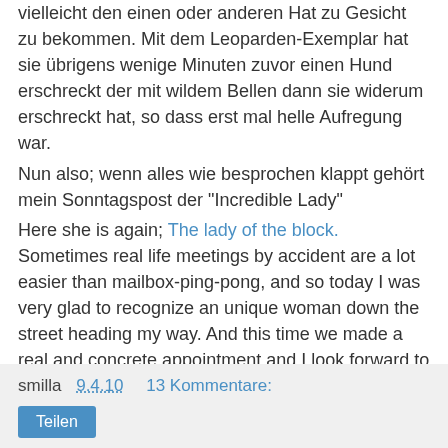vielleicht den einen oder anderen Hat zu Gesicht zu bekommen. Mit dem Leoparden-Exemplar hat sie übrigens wenige Minuten zuvor einen Hund erschreckt der mit wildem Bellen dann sie widerum erschreckt hat, so dass erst mal helle Aufregung war.
Nun also; wenn alles wie besprochen klappt gehört mein Sonntagspost der "Incredible Lady"
Here she is again; The lady of the block. Sometimes real life meetings by accident are a lot easier than mailbox-ping-pong, and so today I was very glad to recognize an unique woman down the street heading my way. And this time we made a real and concrete appointment and I look forward to see her pictures, artcrafts and maybe one or two hats. With the leopard-version she just deeply shocked a dog a few minutes ago, so that the dog shocked her back by barking wildly, so they all were atwitter.
Well, if everything works out fine my sundaypost will be dedicated to the incredible Lady.
smilla  9.4.10  13 Kommentare:
Teilen